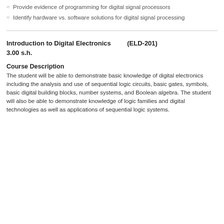Provide evidence of programming for digital signal processors
Identify hardware vs. software solutions for digital signal processing
Introduction to Digital Electronics (ELD-201) 3.00 s.h.
Course Description
The student will be able to demonstrate basic knowledge of digital electronics including the analysis and use of sequential logic circuits, basic gates, symbols, basic digital building blocks, number systems, and Boolean algebra. The student will also be able to demonstrate knowledge of logic families and digital technologies as well as applications of sequential logic systems.